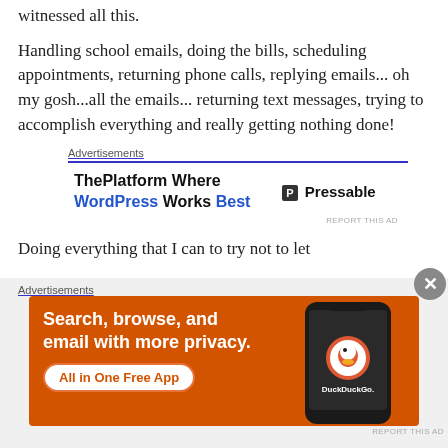witnessed all this.
Handling school emails, doing the bills, scheduling appointments, returning phone calls, replying emails... oh my gosh...all the emails... returning text messages, trying to accomplish everything and really getting nothing done!
[Figure (screenshot): Advertisement box for Pressable/WordPress hosting: 'ThePlatform Where WordPress Works Best' with Pressable logo on right, blue underline border top.]
Doing everything that I can to try not to let
[Figure (screenshot): DuckDuckGo advertisement: orange background, 'Search, browse, and email with more privacy. All in One Free App' with phone image and DuckDuckGo logo.]